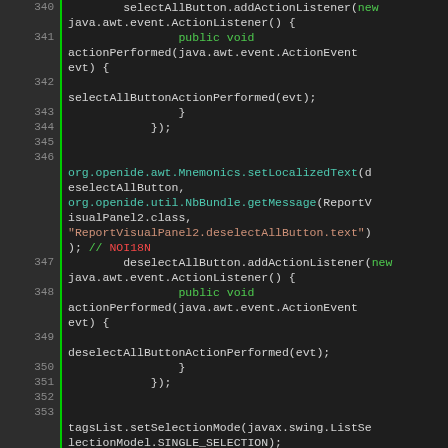[Figure (screenshot): Java source code editor screenshot showing lines 340-355 with syntax highlighting. Dark background IDE view displaying ActionListener implementations and list configuration methods.]